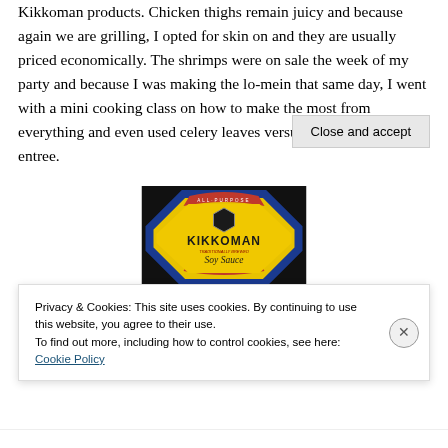Kikkoman products. Chicken thighs remain juicy and because again we are grilling, I opted for skin on and they are usually priced economically. The shrimps were on sale the week of my party and because I was making the lo-mein that same day, I went with a mini cooking class on how to make the most from everything and even used celery leaves versus stalks for my entree.
[Figure (photo): Close-up photo of a Kikkoman All-Purpose Soy Sauce bottle cap/lid, showing the yellow and blue circular label with red accents on a dark background. The label reads KIKKOMAN Soy Sauce.]
Privacy & Cookies: This site uses cookies. By continuing to use this website, you agree to their use.
To find out more, including how to control cookies, see here: Cookie Policy
Close and accept